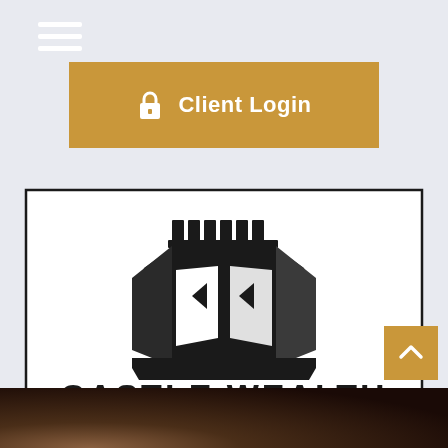[Figure (other): Hamburger menu icon — three white horizontal bars in the top-left corner]
[Figure (other): Orange/gold 'Client Login' button with lock icon and white text]
[Figure (logo): Castle Wealth Group LLC logo — black castle tower icon above bold text 'CASTLE WEALTH GROUP LLC' inside a rectangular border]
[Figure (other): Orange/gold scroll-to-top button with upward chevron arrow, bottom-right corner]
[Figure (photo): Dark photograph strip at the bottom of the page showing hands in a dark/brown toned scene]